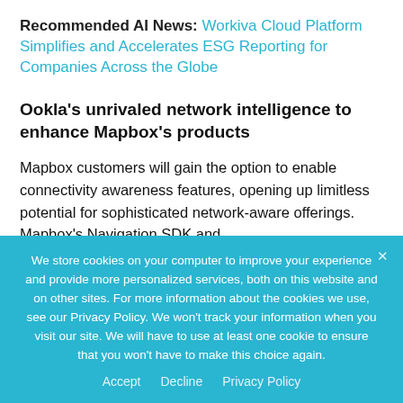Recommended AI News: Workiva Cloud Platform Simplifies and Accelerates ESG Reporting for Companies Across the Globe
Ookla's unrivaled network intelligence to enhance Mapbox's products
Mapbox customers will gain the option to enable connectivity awareness features, opening up limitless potential for sophisticated network-aware offerings. Mapbox's Navigation SDK and
We store cookies on your computer to improve your experience and provide more personalized services, both on this website and on other sites. For more information about the cookies we use, see our Privacy Policy. We won't track your information when you visit our site. We will have to use at least one cookie to ensure that you won't have to make this choice again.
Accept   Decline   Privacy Policy